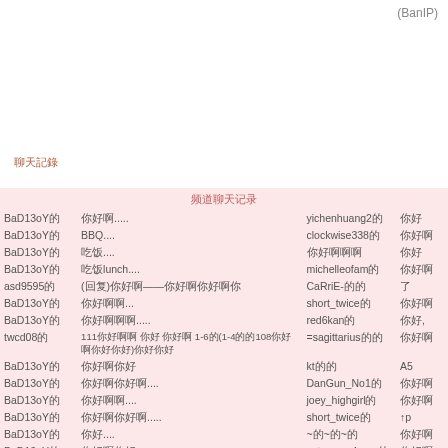(BanIP)
聊天記錄
频道聊天记录
| 用户 | 消息 | 用户 | 消息 |
| --- | --- | --- | --- |
| BaD13oY的 | 你好啊..... | yichenhuang2的 | 你好 |
| BaD13oY的 | BBQ.... | clockwise338的 | 你好啊 |
| BaD13oY的 | 吃饭.... | 你好啊啊啊 | 你好 |
| BaD13oY的 | 吃饭lunch.... | michelleofam的 | 你好啊 |
| asd9595的 | (回复)你好啊——你好啊你好啊你 | CaRriE-的的 | 了 |
| BaD13oY的 | 你好啊啊... | short_twice的 | 你好啊 |
| BaD13oY的 | 你好啊啊啊..... | red6kan的 | 你好, |
| twcd08的 | 111你好啊啊 你好 你好啊 1-6的(1-4的的108你好啊你好你好)你好你好 | =sagittarius的的 | 你好啊 |
| BaD13oY的 | 你好啊你好 | kt的的 | A5 |
| BaD13oY的 | 你好啊你好啊.... | DanGun_No1的 | 你好啊 |
| BaD13oY的 | 你好啊啊.... | joey_highgirl的 | 你好啊 |
| BaD13oY的 | 你好啊你好啊..... | short_twice的 | ↑p |
| BaD13oY的 | 你好.... | ~的~的~的 | 你好啊 |
| BaD13oY的 | 你好啊你好 | cutecrazy4ever的 | 你好啊 |
| asd9595的 | (回复)你好啊你好你好 | joey_highgirl的 | 你好啊 |